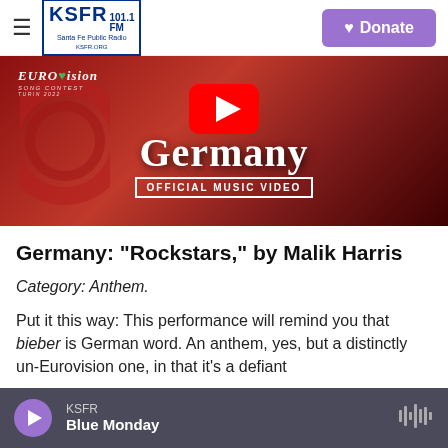KSFR 101.1 FM Santa Fe Public Radio | Donate
[Figure (screenshot): YouTube thumbnail for Germany Eurovision Song Contest Official Music Video featuring large 'Germany' text and YouTube play button on red background]
Germany: "Rockstars," by Malik Harris
Category: Anthem.
Put it this way: This performance will remind you that bieber is German word. An anthem, yes, but a distinctly un-Eurovision one, in that it's a defiant
KSFR — Blue Monday